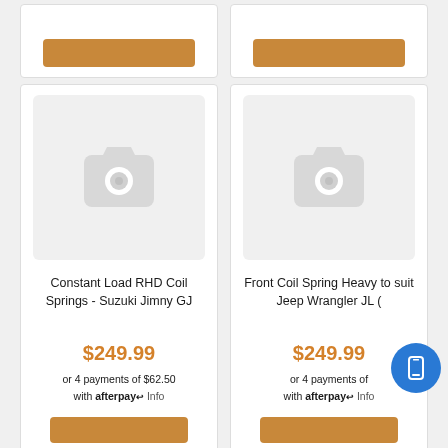[Figure (screenshot): Top partial product cards showing orange 'Add to Cart' buttons on white card backgrounds]
[Figure (photo): Placeholder camera icon image for product: Constant Load RHD Coil Springs - Suzuki Jimny GJ]
Constant Load RHD Coil Springs - Suzuki Jimny GJ
$249.99
or 4 payments of $62.50 with afterpay Info
[Figure (photo): Placeholder camera icon image for product: Front Coil Spring Heavy to suit Jeep Wrangler JL (]
Front Coil Spring Heavy to suit Jeep Wrangler JL (
$249.99
or 4 payments of with afterpay Info